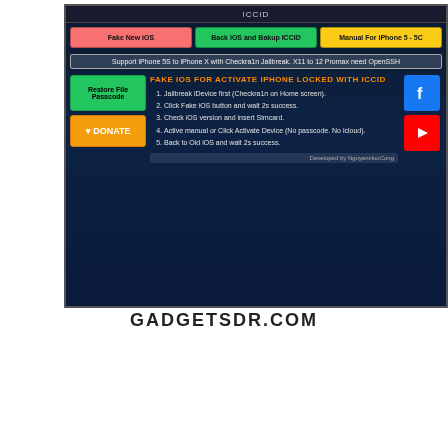[Figure (screenshot): Screenshot of a mobile tool application UI with dark background. Contains buttons: Fake New iOS (pink), Back iOS and Bakup ICCID (green), Manual For iPhone 5-5C (yellow). Support bar text reads: Support iPhone 5S to iPhone X with Checkra1n Jailbreak. X11 to 12 Promax need OpenSSH. Section titled FAKE IOS FOR ACTIVATE IPHONE LOCKED WITH ICCID with 5 numbered steps. Green Restore File Passcode button and orange DONATE button on left. Facebook and YouTube social icons on right. Developer credit bottom right.]
GADGETSDR.COM